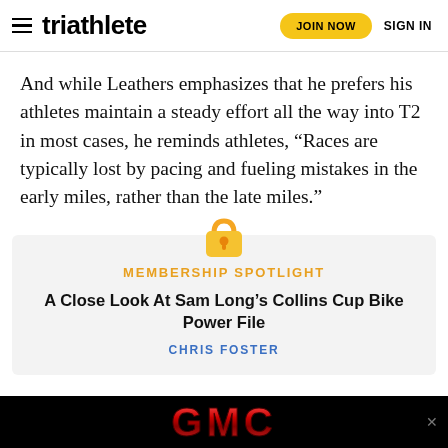triathlete | JOIN NOW | SIGN IN
And while Leathers emphasizes that he prefers his athletes maintain a steady effort all the way into T2 in most cases, he reminds athletes, “Races are typically lost by pacing and fueling mistakes in the early miles, rather than the late miles.”
[Figure (illustration): Gold padlock icon representing membership/subscriber content]
MEMBERSHIP SPOTLIGHT
A Close Look At Sam Long’s Collins Cup Bike Power File
CHRIS FOSTER
[Figure (logo): GMC logo advertisement banner on black background]